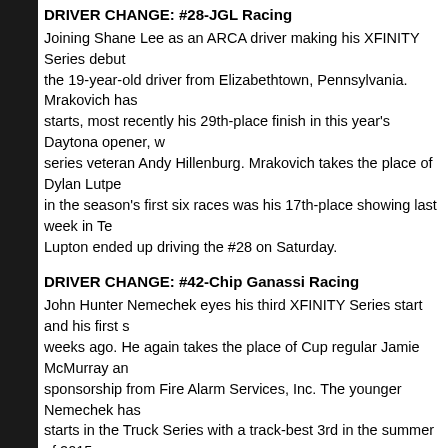DRIVER CHANGE: #28-JGL Racing
Joining Shane Lee as an ARCA driver making his XFINITY Series debut the 19-year-old driver from Elizabethtown, Pennsylvania. Mrakovich has starts, most recently his 29th-place finish in this year's Daytona opener, w series veteran Andy Hillenburg. Mrakovich takes the place of Dylan Lutpe in the season's first six races was his 17th-place showing last week in Te Lupton ended up driving the #28 on Saturday.
DRIVER CHANGE: #42-Chip Ganassi Racing
John Hunter Nemechek eyes his third XFINITY Series start and his first s weeks ago. He again takes the place of Cup regular Jamie McMurray an sponsorship from Fire Alarm Services, Inc. The younger Nemechek has starts in the Truck Series with a track-best 3rd in the summer of 2015 an finishes worse than 8th.
SPONSOR UPDATE: #52-Jimmy Means Racing
The Jimmy Means team carries a new look this weekend with Franklin S the primary sponsor. In so doing, Franklin builds on their business relatio decal supplier and paint scheme designer.
DRIVER CHANGE: #60-Roush-Fenway Racing
Welcome back Ty Majeski, who makes his first XFINITY start of 2018 foll stint last season. Majeski takes the place of Chase Briscoe, who ran 11th Majeski will carry sponsorship from SunnyD, a brand shared by his Rous teammate Ricky Stenhouse, Jr.